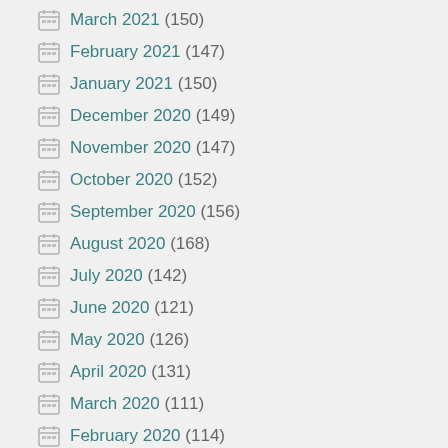March 2021 (150)
February 2021 (147)
January 2021 (150)
December 2020 (149)
November 2020 (147)
October 2020 (152)
September 2020 (156)
August 2020 (168)
July 2020 (142)
June 2020 (121)
May 2020 (126)
April 2020 (131)
March 2020 (111)
February 2020 (114)
January 2020 (103)